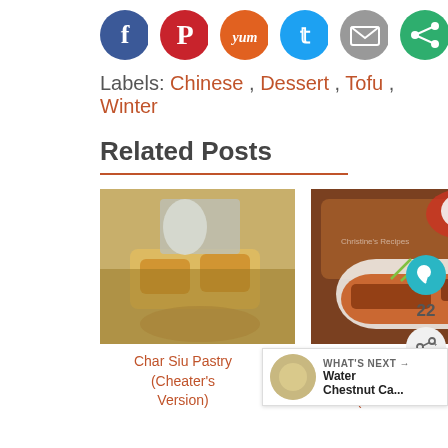[Figure (other): Row of social sharing icon circles: Facebook (blue), Pinterest (red), Yummly (orange), Twitter (light blue), Email (gray), Share (green)]
Labels: Chinese , Dessert , Tofu , Winter
Related Posts
[Figure (photo): Food photo: Char Siu Pastry on wooden board with teapot and blue bowl in background]
[Figure (photo): Food photo: Stewed Pork Ribs in Orange Juice in white dish with rice in red bowl background]
Char Siu Pastry (Cheater's Version)
Stewed Pork Ribs in Orange Ju... (... ...)
WHAT'S NEXT → Water Chestnut Ca...